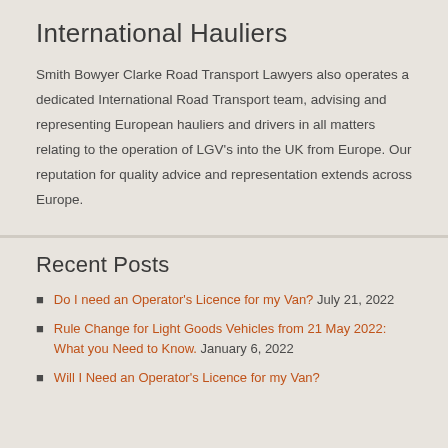International Hauliers
Smith Bowyer Clarke Road Transport Lawyers also operates a dedicated International Road Transport team, advising and representing European hauliers and drivers in all matters relating to the operation of LGV's into the UK from Europe. Our reputation for quality advice and representation extends across Europe.
Recent Posts
Do I need an Operator's Licence for my Van? July 21, 2022
Rule Change for Light Goods Vehicles from 21 May 2022: What you Need to Know. January 6, 2022
Will I Need an Operator's Licence for my Van?